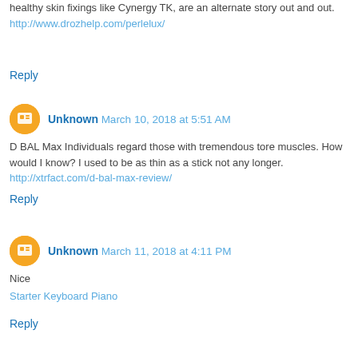healthy skin fixings like Cynergy TK, are an alternate story out and out.
http://www.drozhelp.com/perlelux/
Reply
Unknown  March 10, 2018 at 5:51 AM
D BAL Max Individuals regard those with tremendous tore muscles. How would I know? I used to be as thin as a stick not any longer.
http://xtrfact.com/d-bal-max-review/
Reply
Unknown  March 11, 2018 at 4:11 PM
Nice
Starter Keyboard Piano
Reply